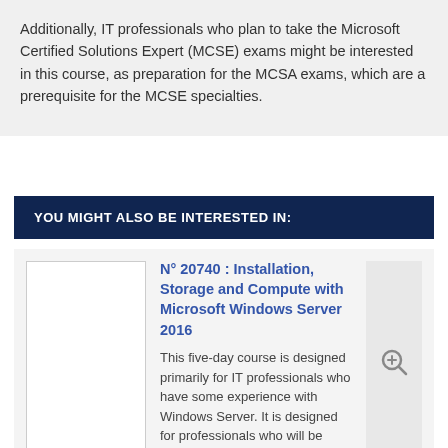Additionally, IT professionals who plan to take the Microsoft Certified Solutions Expert (MCSE) exams might be interested in this course, as preparation for the MCSA exams, which are a prerequisite for the MCSE specialties.
YOU MIGHT ALSO BE INTERESTED IN:
N° 20740 : Installation, Storage and Compute with Microsoft Windows Server 2016
This five-day course is designed primarily for IT professionals who have some experience with Windows Server. It is designed for professionals who will be responsible for